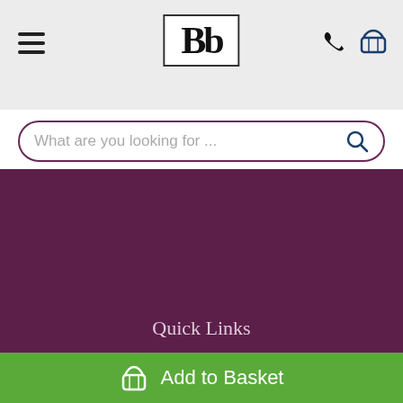Bb logo with hamburger menu, phone and basket icons
What are you looking for ...
[Figure (screenshot): Social media icons row: Twitter, Facebook, YouTube, Instagram, Pinterest on dark circular backgrounds]
Information
About Us
Terms
Delivery & Returns
Privacy Policy
Contact Us
Quick Links
Add to Basket